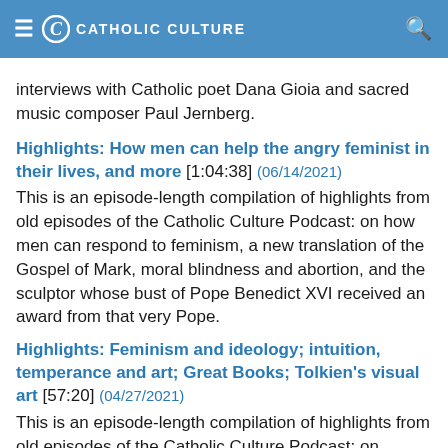CATHOLIC CULTURE
interviews with Catholic poet Dana Gioia and sacred music composer Paul Jernberg.
Highlights: How men can help the angry feminist in their lives, and more [1:04:38] (06/14/2021)
This is an episode-length compilation of highlights from old episodes of the Catholic Culture Podcast: on how men can respond to feminism, a new translation of the Gospel of Mark, moral blindness and abortion, and the sculptor whose bust of Pope Benedict XVI received an award from that very Pope.
Highlights: Feminism and ideology; intuition, temperance and art; Great Books; Tolkien's visual art [57:20] (04/27/2021)
This is an episode-length compilation of highlights from old episodes of the Catholic Culture Podcast: on feminism and ideology, Maritain's philosophy of